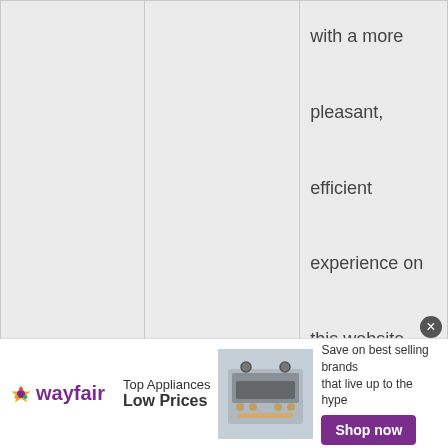| Purpose | Type | Description |
| --- | --- | --- |
| To improve user experience | IdentityTechnicalUsage | with a more pleasant, efficient experience on this website that may be customized to how you or others respond to content and ads on this or |
[Figure (other): Wayfair advertisement banner: Top Appliances Low Prices. Shows a stove image. Save on best selling brands that live up to the hype. Shop now button.]